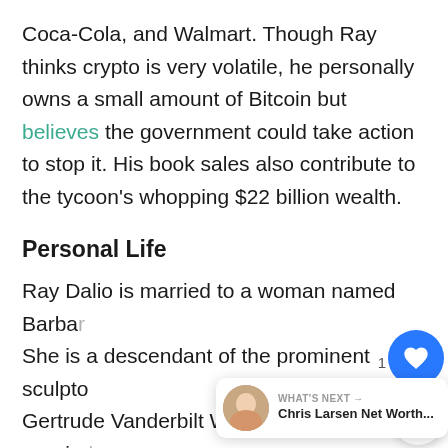Coca-Cola, and Walmart. Though Ray thinks crypto is very volatile, he personally owns a small amount of Bitcoin but believes the government could take action to stop it. His book sales also contribute to the tycoon's whopping $22 billion wealth.
Personal Life
Ray Dalio is married to a woman named Barbara. She is a descendant of the prominent sculpto Gertrude Vanderbilt Whitney. They got married after Dalio graduated from Harvard. The couple has four children: Mark, Matthew, Paul, and Devon. Sadly his son Devon died in a car